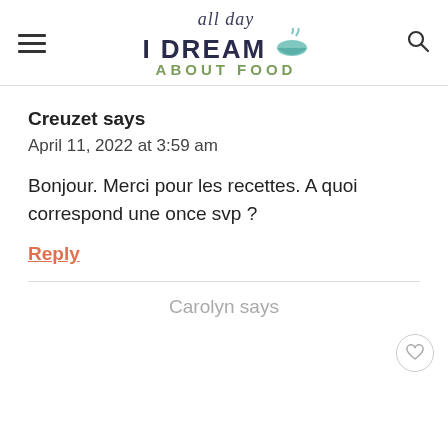[Figure (logo): All Day I Dream About Food blog logo with bowl icon]
Creuzet says
April 11, 2022 at 3:59 am
Bonjour. Merci pour les recettes. A quoi correspond une once svp ?
Reply
Carolyn says